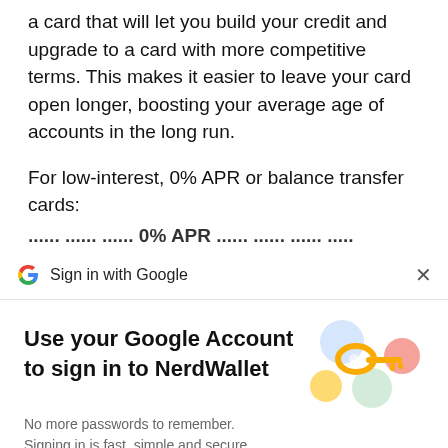a card that will let you build your credit and upgrade to a card with more competitive terms. This makes it easier to leave your card open longer, boosting your average age of accounts in the long run.
For low-interest, 0% APR or balance transfer cards:
...cut off text line...
Sign in with Google
Use your Google Account to sign in to NerdWallet
No more passwords to remember.
Signing in is fast, simple and secure.
Continue